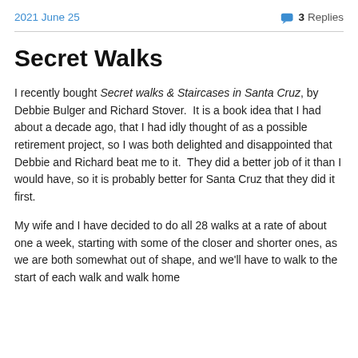2021 June 25    3 Replies
Secret Walks
I recently bought Secret walks & Staircases in Santa Cruz, by Debbie Bulger and Richard Stover.  It is a book idea that I had about a decade ago, that I had idly thought of as a possible retirement project, so I was both delighted and disappointed that Debbie and Richard beat me to it.  They did a better job of it than I would have, so it is probably better for Santa Cruz that they did it first.
My wife and I have decided to do all 28 walks at a rate of about one a week, starting with some of the closer and shorter ones, as we are both somewhat out of shape, and we'll have to walk to the start of each walk and walk home